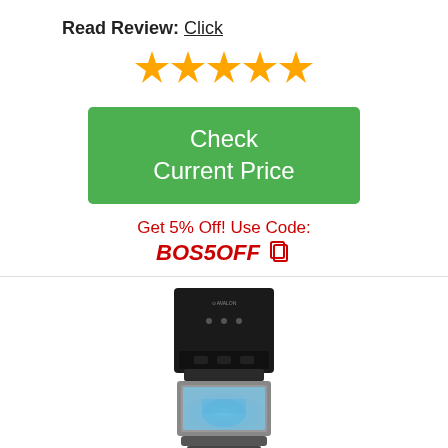Read Review: Click
[Figure (infographic): Five orange star rating icons displayed in a row]
[Figure (infographic): Green button with white text reading 'Check Current Price']
Get 5% Off! Use Code: BOS5OFF (with copy icon)
[Figure (photo): Black and silver water dispenser/cooler with a blue-lit water jug compartment at the bottom]